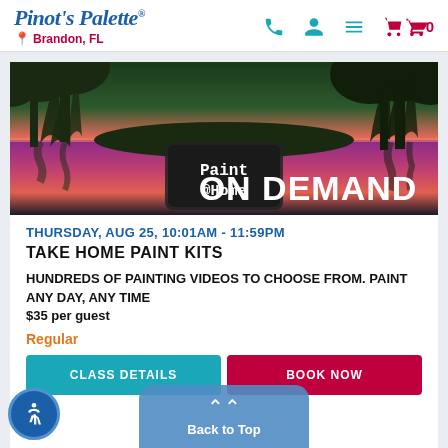Pinot's Palette — Brandon, FL
[Figure (illustration): Paint @Home ON DEMAND promotional banner image showing a lake landscape painting with willow trees at sunset in pink/purple tones]
THURSDAY, AUG 25, 10:01AM - 11:59PM
TAKE HOME PAINT KITS
HUNDREDS OF PAINTING VIDEOS TO CHOOSE FROM. PAINT ANY DAY, ANY TIME
$35 per guest
Regular
CLASS DETAILS    BOOK NOW